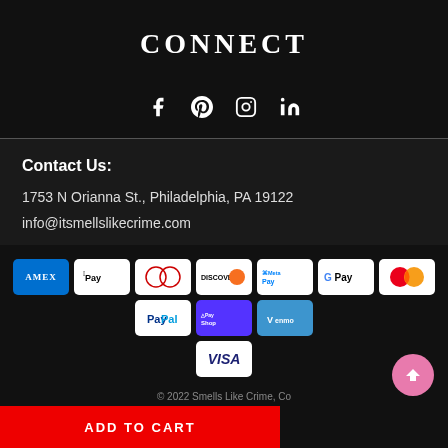CONNECT
[Figure (infographic): Social media icons: Facebook, Pinterest, Instagram, LinkedIn]
Contact Us:
1753 N Orianna St., Philadelphia, PA 19122
info@itsmellslikecrime.com
[Figure (infographic): Payment method icons: American Express, Apple Pay, Diners Club, Discover, Meta Pay, Google Pay, Mastercard, PayPal, Shop Pay, Venmo, Visa]
© 2022 Smells Like Crime, Co
ADD TO CART